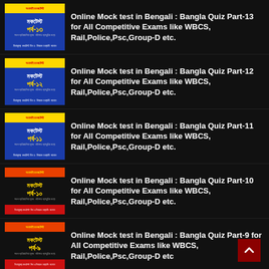Online Mock test in Bengali : Bangla Quiz Part-13 for All Competitive Exams like WBCS, Rail,Police,Psc,Group-D etc.
Online Mock test in Bengali : Bangla Quiz Part-12 for All Competitive Exams like WBCS, Rail,Police,Psc,Group-D etc.
Online Mock test in Bengali : Bangla Quiz Part-11 for All Competitive Exams like WBCS, Rail,Police,Psc,Group-D etc.
Online Mock test in Bengali : Bangla Quiz Part-10 for All Competitive Exams like WBCS, Rail,Police,Psc,Group-D etc.
Online Mock test in Bengali : Bangla Quiz Part-9 for All Competitive Exams like WBCS, Rail,Police,Psc,Group-D etc